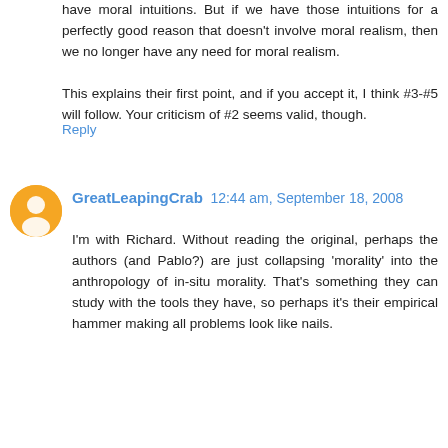have moral intuitions. But if we have those intuitions for a perfectly good reason that doesn't involve moral realism, then we no longer have any need for moral realism.
This explains their first point, and if you accept it, I think #3-#5 will follow. Your criticism of #2 seems valid, though.
Reply
GreatLeapingCrab 12:44 am, September 18, 2008
I'm with Richard. Without reading the original, perhaps the authors (and Pablo?) are just collapsing 'morality' into the anthropology of in-situ morality. That's something they can study with the tools they have, so perhaps it's their empirical hammer making all problems look like nails.
@ PoeticExplosion:
Sounds like the Gil Harman example about cat-burning? I.e. our moral disgust reactions are psychological states with psychological causes, and we need not posit an objective moral property of 'wrong' to explain them.